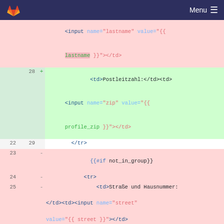GitLab menu bar with logo and Menu icon
[Figure (screenshot): A GitLab code diff view showing HTML template changes. Lines with pink background are deletions (marked with -), lines with green background are additions (marked with +). The diff shows changes to form fields for lastname, zip code (Postleitzahl), street (Straße und Hausnummer), and city (Stadt) fields in a German-language HTML template.]